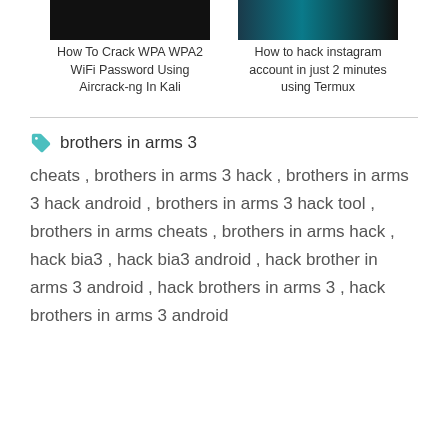[Figure (screenshot): Two article thumbnail cards side by side. Left card shows a dark image with title 'How To Crack WPA WPA2 WiFi Password Using Aircrack-ng In Kali'. Right card shows a dark image with title 'How to hack instagram account in just 2 minutes using Termux'.]
brothers in arms 3 cheats , brothers in arms 3 hack , brothers in arms 3 hack android , brothers in arms 3 hack tool , brothers in arms cheats , brothers in arms hack , hack bia3 , hack bia3 android , hack brother in arms 3 android , hack brothers in arms 3 , hack brothers in arms 3 android